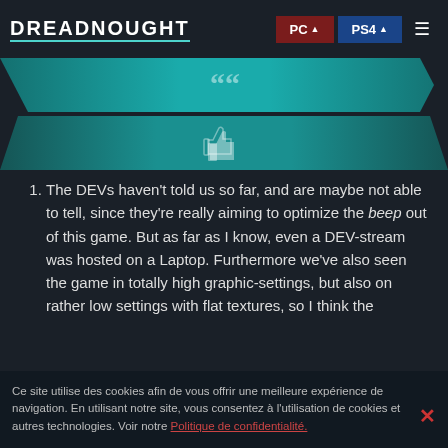DREADNOUGHT | PC | PS4
[Figure (screenshot): Teal banner with quote icon and like bar UI elements from Dreadnought website]
The DEVs haven't told us so far, and are maybe not able to tell, since they're really aiming to optimize the beep out of this game. But as far as I know, even a DEV-stream was hosted on a Laptop. Furthermore we've also seen the game in totally high graphic-settings, but also on rather low settings with flat textures, so I think the minimum-Specs will be somewhat easily achievable.
Again, no direct answer here, but in most games, ClosedAlpha has some kind of NDA in it. Beta's privacy/confidentiality is quite possibly the same with Dreadnought.
Ce site utilise des cookies afin de vous offrir une meilleure expérience de navigation. En utilisant notre site, vous consentez à l'utilisation de cookies et autres technologies. Voir notre Politique de confidentialité.